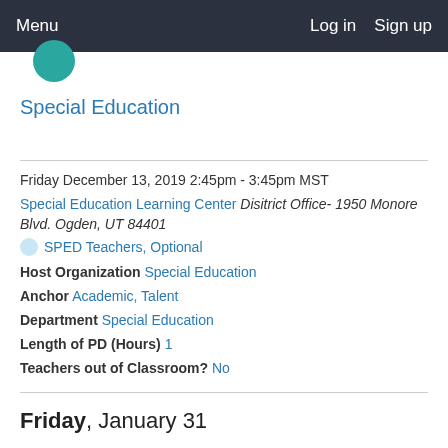Menu   Log in   Sign up
[Figure (logo): Teal circular logo, partially visible at top]
Special Education
Friday December 13, 2019 2:45pm - 3:45pm MST
Special Education Learning Center Disitrict Office- 1950 Monore Blvd. Ogden, UT 84401
SPED Teachers, Optional
Host Organization Special Education
Anchor Academic, Talent
Department Special Education
Length of PD (Hours) 1
Teachers out of Classroom? No
Friday, January 31